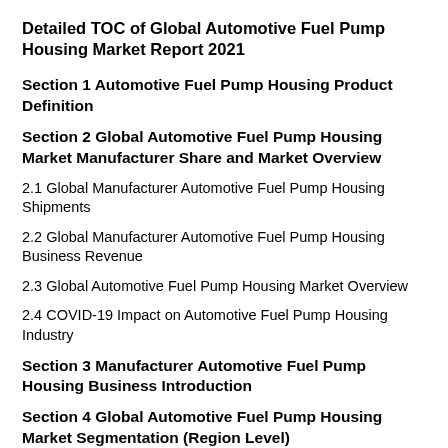Detailed TOC of Global Automotive Fuel Pump Housing Market Report 2021
Section 1 Automotive Fuel Pump Housing Product Definition
Section 2 Global Automotive Fuel Pump Housing Market Manufacturer Share and Market Overview
2.1 Global Manufacturer Automotive Fuel Pump Housing Shipments
2.2 Global Manufacturer Automotive Fuel Pump Housing Business Revenue
2.3 Global Automotive Fuel Pump Housing Market Overview
2.4 COVID-19 Impact on Automotive Fuel Pump Housing Industry
Section 3 Manufacturer Automotive Fuel Pump Housing Business Introduction
Section 4 Global Automotive Fuel Pump Housing Market Segmentation (Region Level)